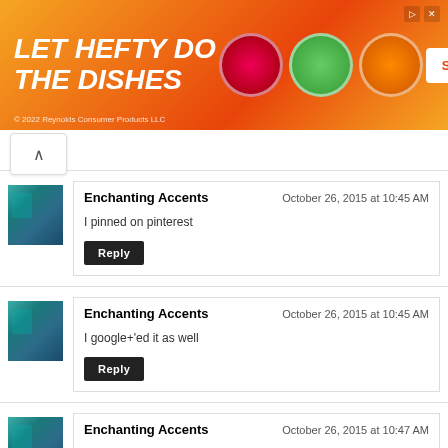[Figure (other): Hefty dish soap advertisement banner with orange gradient background. Text: LET HEFTY DO THE DISHES. Product images (dish soaps). SHOP NOW button. Copyright 2022 Reynolds Consumer Products LLC.]
Enchanting Accents — October 26, 2015 at 10:45 AM — I pinned on pinterest — Reply
Enchanting Accents — October 26, 2015 at 10:45 AM — I google+'ed it as well — Reply
Enchanting Accents — October 26, 2015 at 10:47 AM — I also shared on my blog about it. — Reply